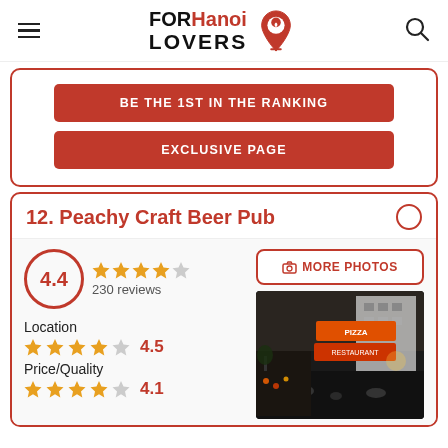FOR Hanoi LOVERS
BE THE 1ST IN THE RANKING
EXCLUSIVE PAGE
12. Peachy Craft Beer Pub
4.4 · 230 reviews
MORE PHOTOS
Location
4.5
Price/Quality
4.1
[Figure (photo): Night street photo of Peachy Craft Beer Pub area with illuminated signs and street activity]